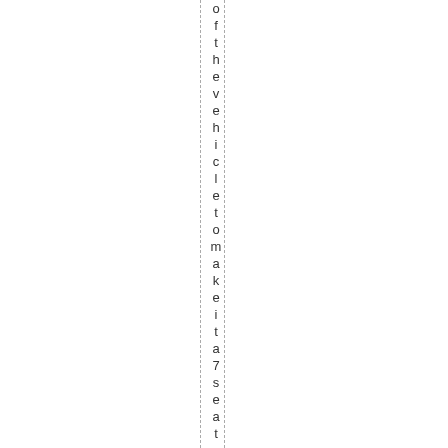of the vehicle to make it a 7 seater. i